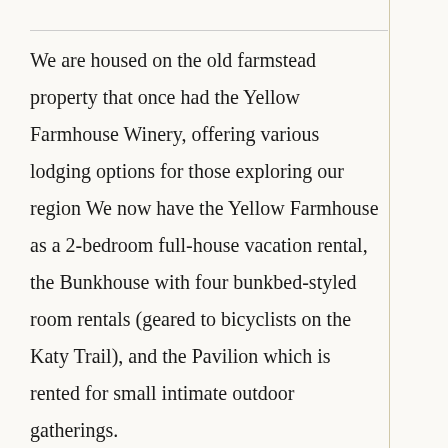We are housed on the old farmstead property that once had the Yellow Farmhouse Winery, offering various lodging options for those exploring our region We now have the Yellow Farmhouse as a 2-bedroom full-house vacation rental, the Bunkhouse with four bunkbed-styled room rentals (geared to bicyclists on the Katy Trail), and the Pavilion which is rented for small intimate outdoor gatherings.